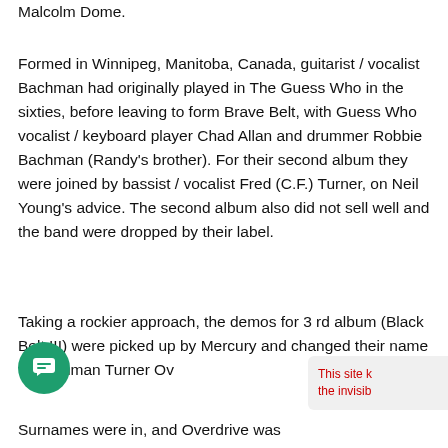Malcolm Dome.
Formed in Winnipeg, Manitoba, Canada, guitarist / vocalist Bachman had originally played in The Guess Who in the sixties, before leaving to form Brave Belt, with Guess Who vocalist / keyboard player Chad Allan and drummer Robbie Bachman (Randy's brother). For their second album they were joined by bassist / vocalist Fred (C.F.) Turner, on Neil Young's advice. The second album also did not sell well and the band were dropped by their label.
Taking a rockier approach, the demos for 3 rd album (Black Belt III) were picked up by Mercury and changed their name to Bachman Turner Ov... Surnames were in, and Overdrive was